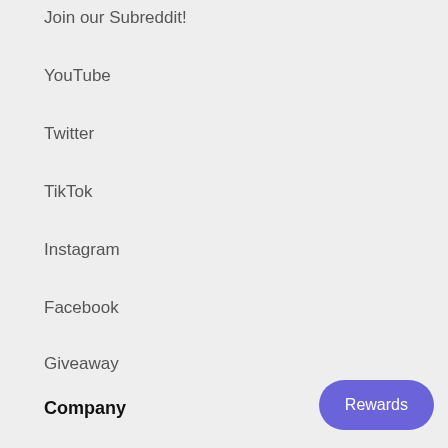Join our Subreddit!
YouTube
Twitter
TikTok
Instagram
Facebook
Giveaway
Company
About Us
Rewards